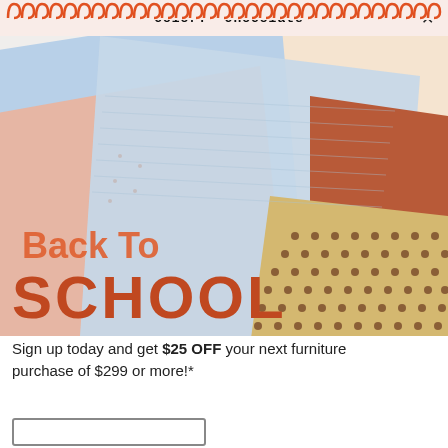color: chocolate  ×
[Figure (photo): Back to school promotional image showing overlapping notebooks and folders in light blue, peach/salmon, cream, terracotta, and tan/kraft with dot pattern, arranged at angles on a white background]
Back To SCHOOL
Sign up today and get $25 OFF your next furniture purchase of $299 or more!*